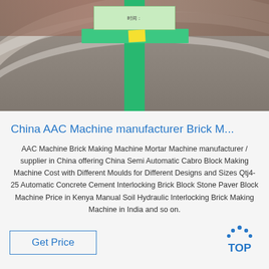[Figure (photo): Close-up photo of a curved metal pipe or tube with a green tape/strip running vertically, a small yellow sticky note, and a green label tag with text at the top]
China AAC Machine manufacturer Brick M...
AAC Machine Brick Making Machine Mortar Machine manufacturer / supplier in China offering China Semi Automatic Cabro Block Making Machine Cost with Different Moulds for Different Designs and Sizes Qtj4-25 Automatic Concrete Cement Interlocking Brick Block Stone Paver Block Machine Price in Kenya Manual Soil Hydraulic Interlocking Brick Making Machine in India and so on.
[Figure (logo): TOP logo with dots arranged in triangle above the word TOP in blue]
[Figure (photo): Bottom strip showing partial view of metal pipe with green patterned tape/strip]